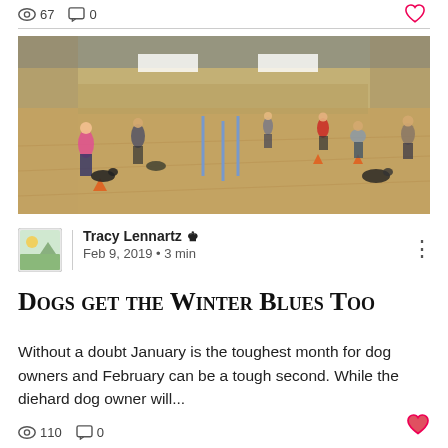[Figure (other): Top icon bar showing eye icon, count '67', comment icon, '0', and heart icon on the right]
[Figure (photo): Indoor arena with sandy floor. Several people and dogs practicing dog training. Blue agility poles in the middle. Signs on the wall in the background.]
[Figure (other): Author avatar thumbnail showing a landscape image icon]
Tracy Lennartz 👑 Feb 9, 2019 · 3 min
Dogs get the Winter Blues Too
Without a doubt January is the toughest month for dog owners and February can be a tough second. While the diehard dog owner will...
110  0